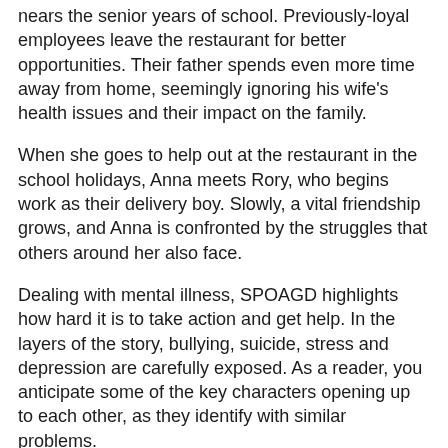nears the senior years of school. Previously-loyal employees leave the restaurant for better opportunities. Their father spends even more time away from home, seemingly ignoring his wife's health issues and their impact on the family.
When she goes to help out at the restaurant in the school holidays, Anna meets Rory, who begins work as their delivery boy. Slowly, a vital friendship grows, and Anna is confronted by the struggles that others around her also face.
Dealing with mental illness, SPOAGD highlights how hard it is to take action and get help. In the layers of the story, bullying, suicide, stress and depression are carefully exposed. As a reader, you anticipate some of the key characters opening up to each other, as they identify with similar problems.
But, credit to author, Wai Chim, there is no easy path for Anna, Rory, or others like school acquaintance, Wei. However new friendships and old loyalties form a comforting base for Anna and Rory, as they work through their individual struggles.